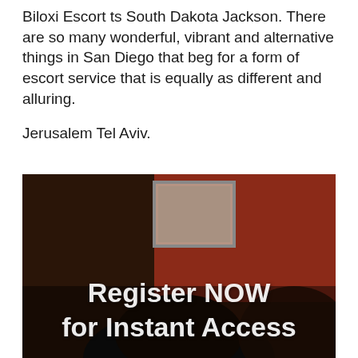Biloxi Escort ts South Dakota Jackson. There are so many wonderful, vibrant and alternative things in San Diego that beg for a form of escort service that is equally as different and alluring.

Jerusalem Tel Aviv.
[Figure (photo): Dark photo of a person with a red/brown background and a framed picture on the wall, with overlaid white text reading 'Register NOW for Instant Access']